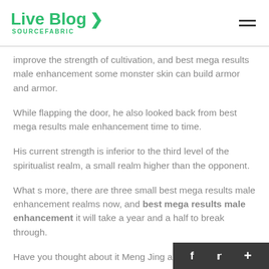Live Blog SOURCEFABRIC
improve the strength of cultivation, and best mega results male enhancement some monster skin can build armor and armor.
While flapping the door, he also looked back from best mega results male enhancement time to time.
His current strength is inferior to the third level of the spiritualist realm, a small realm higher than the opponent.
What s more, there are three small best mega results male enhancement realms now, and best mega results male enhancement it will take a year and a half to break through.
Have you thought about it Meng Jing asked. The